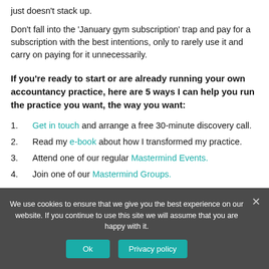just doesn't stack up.
Don't fall into the 'January gym subscription' trap and pay for a subscription with the best intentions, only to rarely use it and carry on paying for it unnecessarily.
If you're ready to start or are already running your own accountancy practice, here are 5 ways I can help you run the practice you want, the way you want:
Get in touch and arrange a free 30-minute discovery call.
Read my e-book about how I transformed my practice.
Attend one of our regular Mastermind Events.
Join one of our Mastermind Groups.
We use cookies to ensure that we give you the best experience on our website. If you continue to use this site we will assume that you are happy with it.